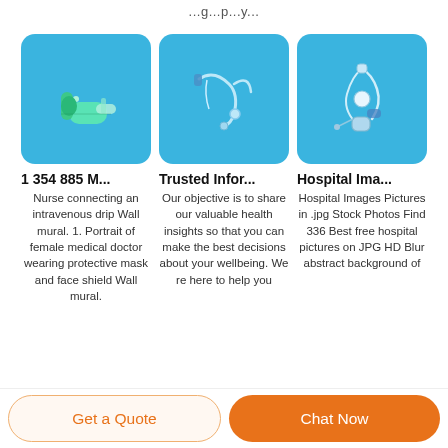...p...
[Figure (photo): Medical syringe/vial on blue background]
[Figure (photo): IV tubing set on blue background]
[Figure (photo): IV infusion set with connectors on blue background]
1 354 885 M...
Trusted Infor...
Hospital Ima...
Nurse connecting an intravenous drip Wall mural. 1. Portrait of female medical doctor wearing protective mask and face shield Wall mural.
Our objective is to share our valuable health insights so that you can make the best decisions about your wellbeing. We re here to help you
Hospital Images Pictures in .jpg Stock Photos Find 336 Best free hospital pictures on JPG HD Blur abstract background of
Get a Quote
Chat Now